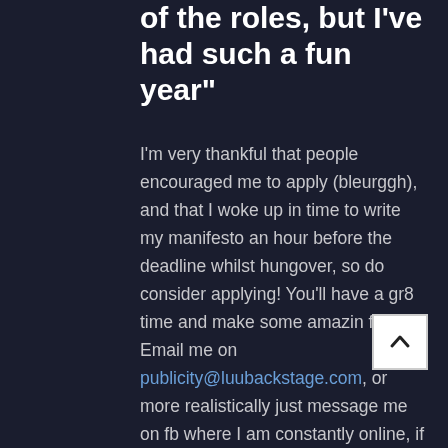of the roles, but I've had such a fun year"
I'm very thankful that people encouraged me to apply (bleurggh), and that I woke up in time to write my manifesto an hour before the deadline whilst hungover, so do consider applying! You'll have a gr8 time and make some amazin friends. Email me on publicity@luubackstage.com, or more realistically just message me on fb where I am constantly online, if you want to talk more about the role or have any questions about being on committee in general! (Or talk to me in real life if you can catch me not asleep, in Essentials, or set designing yet another show.)